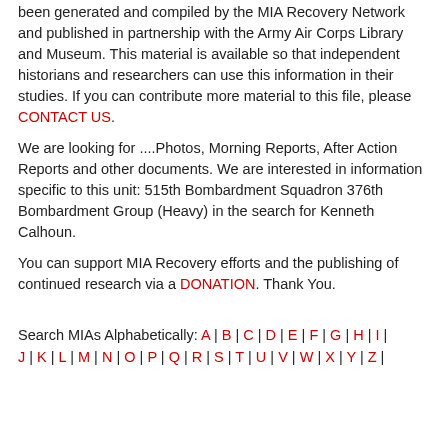been generated and compiled by the MIA Recovery Network and published in partnership with the Army Air Corps Library and Museum. This material is available so that independent historians and researchers can use this information in their studies. If you can contribute more material to this file, please CONTACT US.
We are looking for ....Photos, Morning Reports, After Action Reports and other documents. We are interested in information specific to this unit: 515th Bombardment Squadron 376th Bombardment Group (Heavy) in the search for Kenneth Calhoun.
You can support MIA Recovery efforts and the publishing of continued research via a DONATION. Thank You.
Search MIAs Alphabetically: A | B | C | D | E | F | G | H | I | J | K | L | M | N | O | P | Q | R | S | T | U | V | W | X | Y | Z |